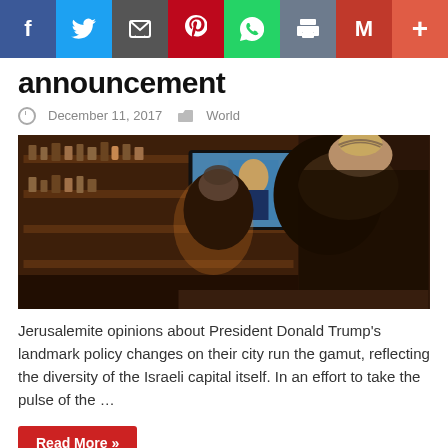[Figure (other): Social media share bar with Facebook, Twitter, Email, Pinterest, WhatsApp, Print, Gmail, and More buttons]
announcement
December 11, 2017   World
[Figure (photo): Two men wearing kippot watching a TV screen showing President Donald Trump speaking, inside a bar with liquor bottles on shelves]
Jerusalemite opinions about President Donald Trump's landmark policy changes on their city run the gamut, reflecting the diversity of the Israeli capital itself. In an effort to take the pulse of the ...
Read More »
Tweet   Like 0